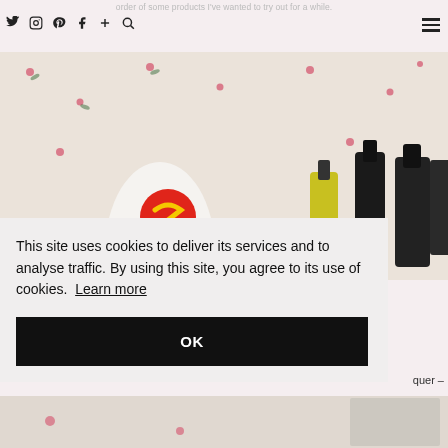order of some products I've wanted to try out for a while.
[Figure (photo): Photo of beauty products including a Smoothing Lusterizer bottle and OPI nail polish bottles on a floral fabric background]
This site uses cookies to deliver its services and to analyse traffic. By using this site, you agree to its use of cookies. Learn more
OK
quer –
[Figure (photo): Partial view of a second photo showing floral fabric, similar to the one above]